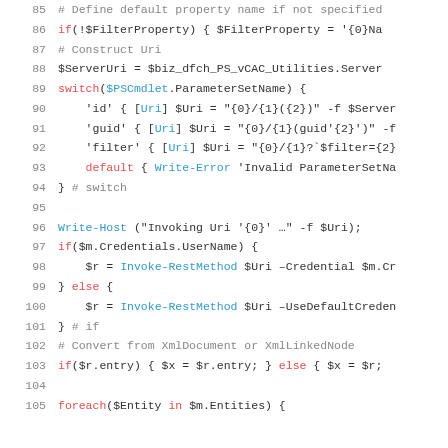Code listing lines 85-105, PowerShell source code